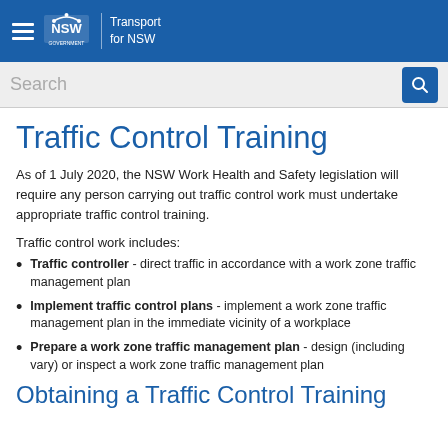Transport for NSW
Search
Traffic Control Training
As of 1 July 2020, the NSW Work Health and Safety legislation will require any person carrying out traffic control work must undertake appropriate traffic control training.
Traffic control work includes:
Traffic controller - direct traffic in accordance with a work zone traffic management plan
Implement traffic control plans - implement a work zone traffic management plan in the immediate vicinity of a workplace
Prepare a work zone traffic management plan - design (including vary) or inspect a work zone traffic management plan
Obtaining a Traffic Control Training